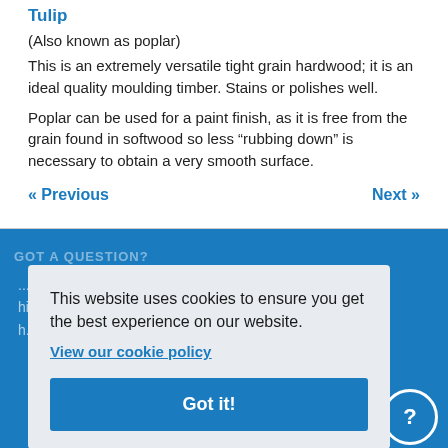Tulip
(Also known as poplar)
This is an extremely versatile tight grain hardwood; it is an ideal quality moulding timber. Stains or polishes well.
Poplar can be used for a paint finish, as it is free from the grain found in softwood so less “rubbing down” is necessary to obtain a very smooth surface.
« Previous    Next »
GOT A QUESTION?
This website uses cookies to ensure you get the best experience on our website.
View our cookie policy
Got it!